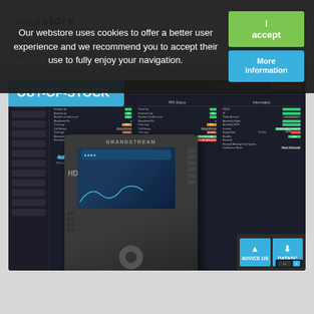Our webstore uses cookies to offer a better user experience and we recommend you to accept their use to fully enjoy your navigation.
I accept
More information
voipstore — Search our catalog
[Figure (screenshot): Product page screenshot showing a VoIP management dashboard (FreePBX-style interface with System Status, PRI Status, and Information panels) overlaid with a Grandstream HD IP desk phone in the foreground. The product is marked OUT-OF-STOCK with action buttons below.]